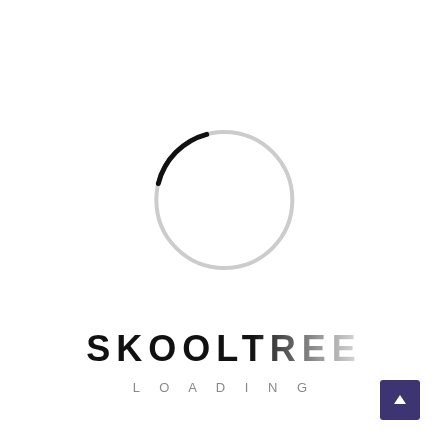[Figure (logo): Loading spinner circle: mostly light gray with a short black arc at the bottom-left; below it the bold text SKOOLTREE (with gradient fade on the last two letters) and LOADING in spaced gray caps]